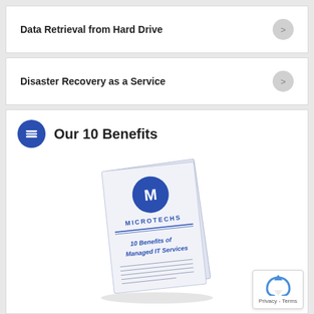Data Retrieval from Hard Drive
Disaster Recovery as a Service
Our 10 Benefits
[Figure (photo): A tilted booklet/brochure with Microtechs logo and text '10 Benefits of Managed IT Services' on the cover, with horizontal lines on the lower portion.]
Privacy - Terms